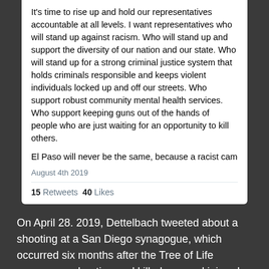It's time to rise up and hold our representatives accountable at all levels.  I want representatives who will stand up against racism.   Who will stand up and support the diversity of our nation and our state.  Who will stand up for a strong criminal justice system that holds criminals responsible and keeps violent individuals locked up and off our streets.  Who support robust community mental health services.  Who support keeping guns out of the hands of people who are just waiting for an opportunity to kill others.
El Paso will never be the same, because a racist came...
August 4th 2019
15 Retweets  40 Likes
On April 28. 2019, Dettelbach tweeted about a shooting at a San Diego synagogue, which occurred six months after the Tree of Life synagogue shooting and killed one and injured three.